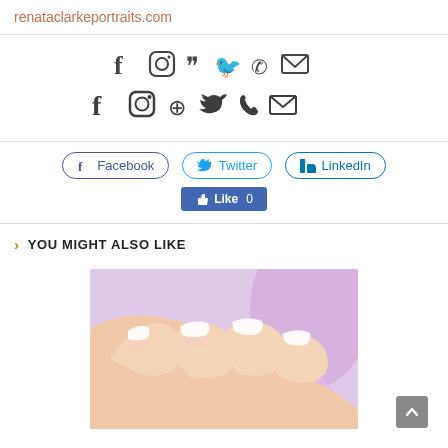renataclarkeportraits.com
[Figure (infographic): Row of social media icons: Facebook, Instagram, Pinterest, Twitter, Phone, Email]
[Figure (infographic): Share buttons: Facebook, Twitter, LinkedIn share buttons with icons]
[Figure (infographic): Facebook Like button showing Like 0]
YOU MIGHT ALSO LIKE
[Figure (photo): Close-up photo of hands with French manicured nails on a purple floral background]